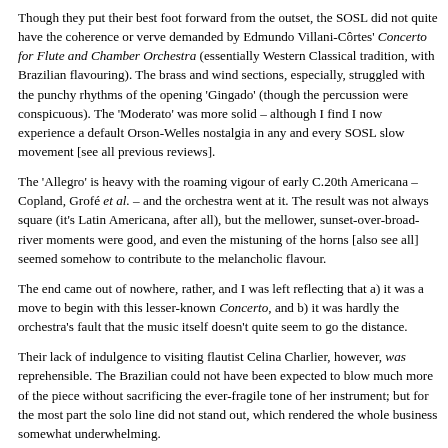Though they put their best foot forward from the outset, the SOSL did not quite have the coherence or verve demanded by Edmundo Villani-Côrtes' Concerto for Flute and Chamber Orchestra (essentially Western Classical tradition, with Brazilian flavouring). The brass and wind sections, especially, struggled with the punchy rhythms of the opening 'Gingado' (though the percussion were conspicuous). The 'Moderato' was more solid – although I find I now experience a default Orson-Welles nostalgia in any and every SOSL slow movement [see all previous reviews].
The 'Allegro' is heavy with the roaming vigour of early C.20th Americana – Copland, Grofé et al. – and the orchestra went at it. The result was not always square (it's Latin Americana, after all), but the mellower, sunset-over-broad-river moments were good, and even the mistuning of the horns [also see all] seemed somehow to contribute to the melancholic flavour.
The end came out of nowhere, rather, and I was left reflecting that a) it was a move to begin with this lesser-known Concerto, and b) it was hardly the orchestra's fault that the music itself doesn't quite seem to go the distance.
Their lack of indulgence to visiting flautist Celina Charlier, however, was reprehensible. The Brazilian could not have been expected to blow much more of the piece without sacrificing the ever-fragile tone of her instrument; but for the most part the solo line did not stand out, which rendered the whole business somewhat underwhelming.